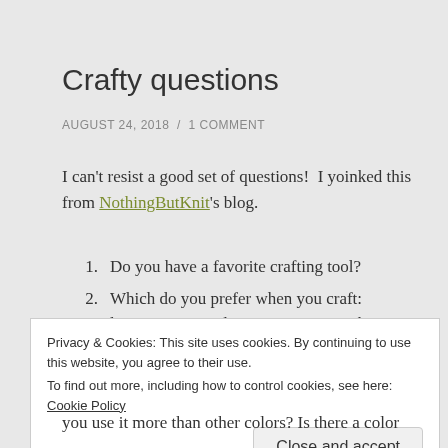Crafty questions
AUGUST 24, 2018  /  1 COMMENT
I can't resist a good set of questions!  I yoinked this from NothingButKnit's blog.
1. Do you have a favorite crafting tool?
2. Which do you prefer when you craft: listening to a podcast or music, watching something on tv or
Privacy & Cookies: This site uses cookies. By continuing to use this website, you agree to their use.
To find out more, including how to control cookies, see here: Cookie Policy
Close and accept
you use it more than other colors? Is there a color